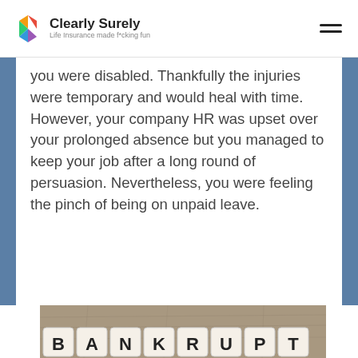Clearly Surely — Life Insurance made f*cking fun
you were disabled. Thankfully the injuries were temporary and would heal with time. However, your company HR was upset over your prolonged absence but you managed to keep your job after a long round of persuasion. Nevertheless, you were feeling the pinch of being on unpaid leave.
[Figure (photo): Scrabble tiles spelling BANKRUPT on a wooden background]